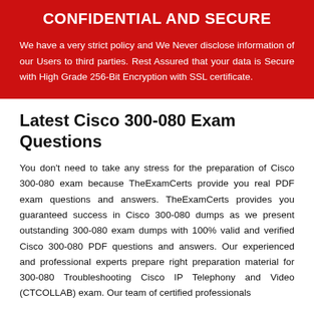CONFIDENTIAL AND SECURE
We have a very strict policy and We Never disclose information of our Users to third parties. Rest Assured that your data is Secure with High Grade 256-Bit Encryption with SSL certificate.
Latest Cisco 300-080 Exam Questions
You don't need to take any stress for the preparation of Cisco 300-080 exam because TheExamCerts provide you real PDF exam questions and answers. TheExamCerts provides you guaranteed success in Cisco 300-080 dumps as we present outstanding 300-080 exam dumps with 100% valid and verified Cisco 300-080 PDF questions and answers. Our experienced and professional experts prepare right preparation material for 300-080 Troubleshooting Cisco IP Telephony and Video (CTCOLLAB) exam. Our team of certified professionals